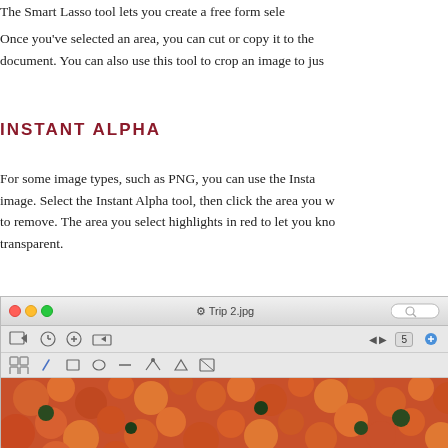The Smart Lasso tool lets you create a free form sele…
Once you've selected an area, you can cut or copy it to the document. You can also use this tool to crop an image to jus…
INSTANT ALPHA
For some image types, such as PNG, you can use the Insta… image. Select the Instant Alpha tool, then click the area you w… to remove. The area you select highlights in red to let you kno… transparent.
[Figure (screenshot): macOS Preview application window showing a photo of a child in front of orange flowers, with the title 'Trip 2.jpg' in the titlebar]